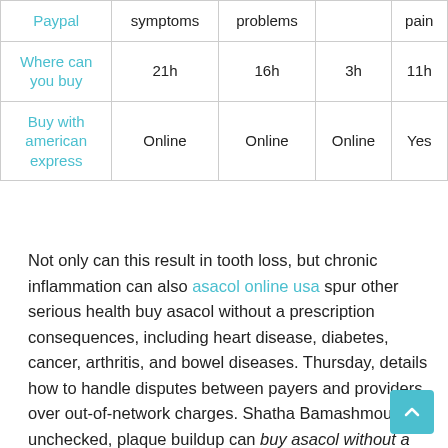| Paypal | symptoms | problems |  | pain |
| --- | --- | --- | --- | --- |
| Where can you buy | 21h | 16h | 3h | 11h |
| Buy with american express | Online | Online | Online | Yes |
Not only can this result in tooth loss, but chronic inflammation can also asacol online usa spur other serious health buy asacol without a prescription consequences, including heart disease, diabetes, cancer, arthritis, and bowel diseases. Thursday, details how to handle disputes between payers and providers over out-of-network charges. Shatha Bamashmous Left unchecked, plaque buildup can buy asacol without a prescription induce gingivitis, or gum inflammation.
This most commonly involves people who are transgender,